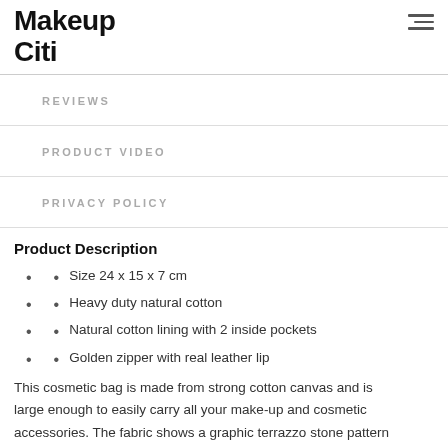Makeup Citi
REVIEWS
PRODUCT VIDEO
PRIVACY POLICY
Product Description
Size 24 x 15 x 7 cm
Heavy duty natural cotton
Natural cotton lining with 2 inside pockets
Golden zipper with real leather lip
This cosmetic bag is made from strong cotton canvas and is large enough to easily carry all your make-up and cosmetic accessories. The fabric shows a graphic terrazzo stone pattern in an orange terracotta and moss green colour palette. The bag has a triangle shape so it